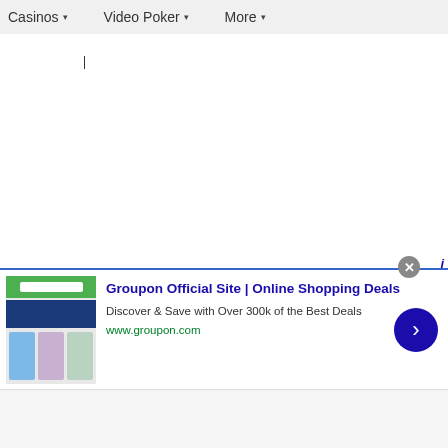Casinos ▾   Video Poker ▾   More ▾
[Figure (screenshot): Advertisement for Groupon Official Site | Online Shopping Deals with thumbnail images of deals]
Groupon Official Site | Online Shopping Deals
Discover & Save with Over 300k of the Best Deals
www.groupon.com